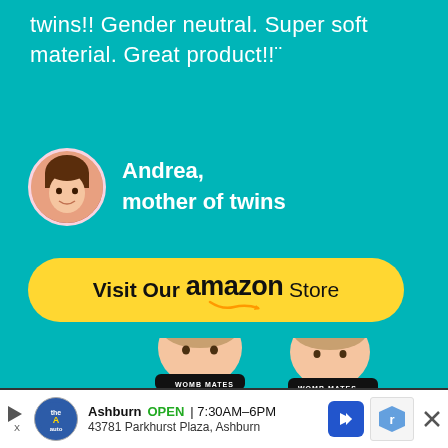twins!! Gender neutral. Super soft material. Great product!!¨
Andrea, mother of twins
[Figure (other): Yellow pill-shaped button with text 'Visit Our amazon Store' and Amazon smile logo]
[Figure (photo): Two babies wearing black bibs that say 'WOMB MATES' on a teal background]
[Figure (other): Ad bar: The Auto logo, Ashburn OPEN 7:30AM-6PM, 43781 Parkhurst Plaza Ashburn, navigation arrow icon, reCAPTCHA badge, close X]